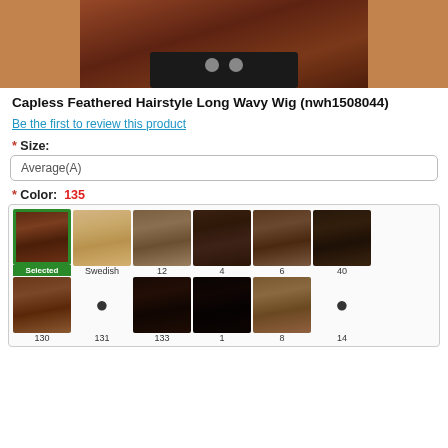[Figure (photo): Close-up photo of a wavy brown wig with dark ribbon/bow accessory]
Capless Feathered Hairstyle Long Wavy Wig (nwh1508044)
Be the first to review this product
* Size: Average(A)
* Color: 135
[Figure (other): Color swatch grid showing hair color options: Selected (135), Swedish, 12, 4, 6, 40 in top row; 130, 131, 133, 1, 8, 14 in bottom row]